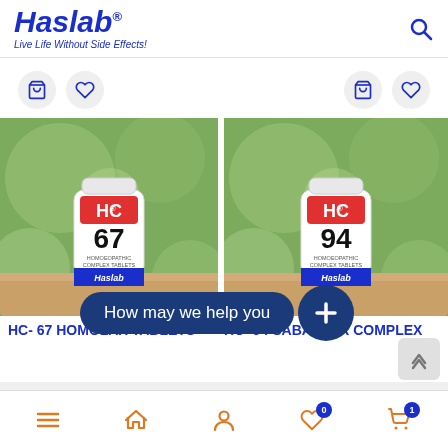[Figure (logo): Haslab logo with tagline 'Live Life Without Side Effects!']
[Figure (photo): HC-67 Homolax Tablets product bottle with green bokeh background]
[Figure (photo): HC-94 Sabalser Complex product bottle with green bokeh background]
HC- 67 HOMOLAX TABLETS
HC- 94 SABALSER COMPLEX
How may we help you
Bottom navigation bar with menu, home, account, wishlist (0), cart (1)